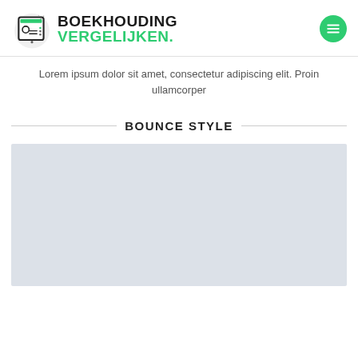[Figure (logo): Boekhouding Vergelijken logo with icon showing a contact card and text 'BOEKHOUDING VERGELIJKEN.' with the second word in green, plus a green circular hamburger menu button on the right]
Lorem ipsum dolor sit amet, consectetur adipiscing elit. Proin ullamcorper
BOUNCE STYLE
[Figure (illustration): Light gray rectangular placeholder image area]